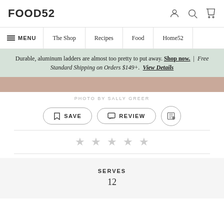FOOD52
MENU | The Shop | Recipes | Food | Home52
Durable, aluminum ladders are almost too pretty to put away. Shop now. | Free Standard Shipping on Orders $149+. View Details
PHOTO BY SALLY GREER
SAVE   REVIEW
★ ★ ★ ★ ★
SERVES
12